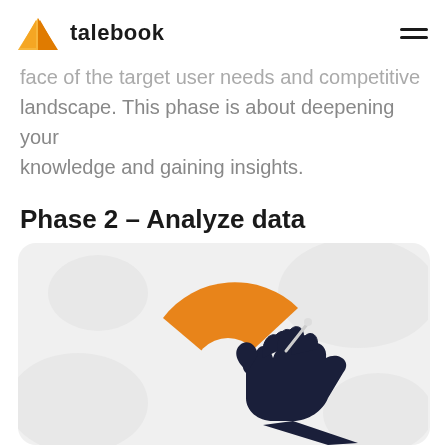talebook
face of the target user needs and competitive landscape. This phase is about deepening your knowledge and gaining insights.
Phase 2 – Analyze data
[Figure (illustration): Illustration of a dark navy hand holding and analyzing an orange pie/donut chart segment, on a light gray rounded rectangle background with decorative cloud-like shapes.]